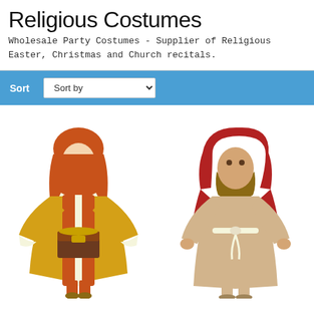Religious Costumes
Wholesale Party Costumes - Supplier of Religious Easter, Christmas and Church recitals.
[Figure (screenshot): Sort bar with blue background showing 'Sort' label and a 'Sort by' dropdown selector]
[Figure (photo): Child wearing an orange/gold wise man biblical costume with head covering, holding a treasure chest]
[Figure (photo): Child wearing a beige/tan shepherd or Joseph biblical costume with red head covering and rope belt]